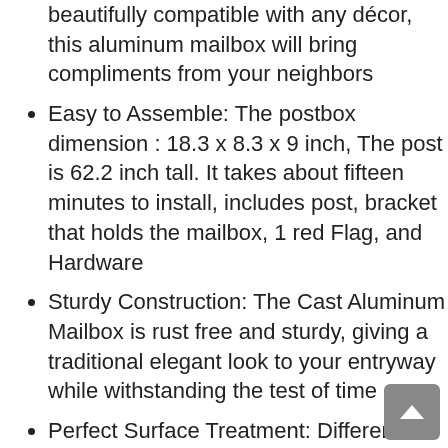beautifully compatible with any décor, this aluminum mailbox will bring compliments from your neighbors
Easy to Assemble: The postbox dimension : 18.3 x 8.3 x 9 inch, The post is 62.2 inch tall. It takes about fifteen minutes to install, includes post, bracket that holds the mailbox, 1 red Flag, and Hardware
Sturdy Construction: The Cast Aluminum Mailbox is rust free and sturdy, giving a traditional elegant look to your entryway while withstanding the test of time
Perfect Surface Treatment: Different from the ordinary baking treatment, the mailbox is also proceed with electrostatic Powder Coating after pro